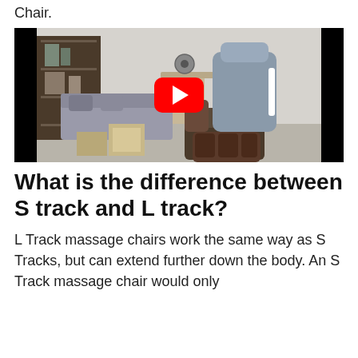Chair.
[Figure (screenshot): Video thumbnail of a massage chair in a living room setting with a YouTube play button overlay. The chair is dark brown and gray on the right side, with shelving and furniture in the background. Black bars on left and right sides of the video frame.]
What is the difference between S track and L track?
L Track massage chairs work the same way as S Tracks, but can extend further down the body. An S Track massage chair would only